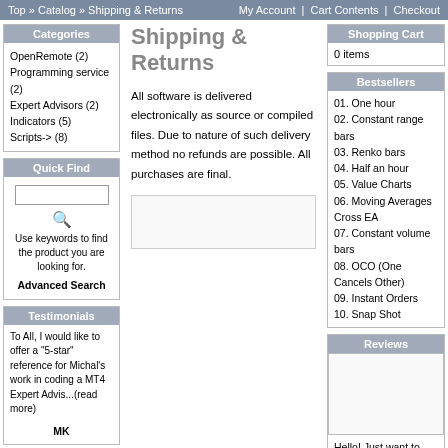Top » Catalog » Shipping & Returns   My Account | Cart Contents | Checkout
Categories
OpenRemote (2)
Programming service (2)
Expert Advisors (2)
Indicators (5)
Scripts-> (8)
Quick Find
Use keywords to find the product you are looking for. Advanced Search
Testimonials
To All, I would like to offer a "5-star" reference for Michal's work in coding a MT4 Expert Advis...(read more)
MK
Information
Shipping & Returns
Shipping & Returns
All software is delivered electronically as source or compiled files. Due to nature of such delivery method no refunds are possible. All purchases are final.
Shopping Cart
0 items
Bestsellers
01. One hour
02. Constant range bars
03. Renko bars
04. Half an hour
05. Value Charts
06. Moving Averages Cross EA
07. Constant volume bars
08. OCO (One Cancels Other)
09. Instant Orders
10. Snap Shot
Reviews
Hello! Just want to say- Thank you a lot for